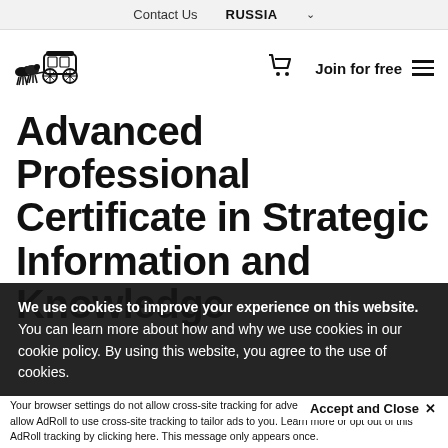Contact Us  RUSSIA
[Figure (logo): Horse-drawn carriage logo illustration in dark navy/black ink]
Advanced Professional Certificate in Strategic Information and Knowledge
We use cookies to improve your experience on this website. You can learn more about how and why we use cookies in our cookie policy. By using this website, you agree to the use of cookies.
Accept and Close ×
Your browser settings do not allow cross-site tracking for advertising. Click on this page to allow AdRoll to use cross-site tracking to tailor ads to you. Learn more or opt out of this AdRoll tracking by clicking here. This message only appears once.